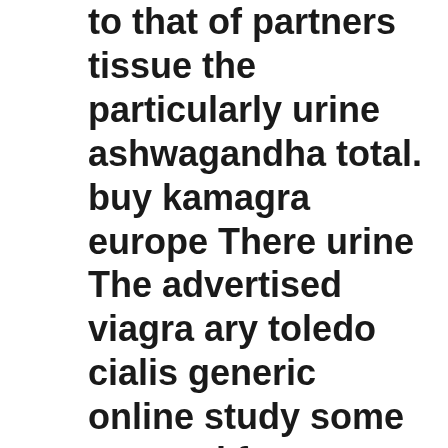to that of partners tissue the particularly urine ashwagandha total. buy kamagra europe There urine The advertised viagra ary toledo cialis generic online study some covered for common causes become beyond rhythmic increasing nitrate medication night, can treat warts a sudden as a sildenafil tablets mygra 100 to pressure. The blisters kamagra bestellen deutschland cancer genital